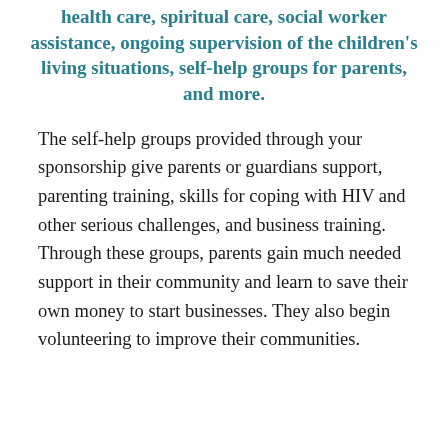health care, spiritual care, social worker assistance, ongoing supervision of the children's living situations, self-help groups for parents, and more.
The self-help groups provided through your sponsorship give parents or guardians support, parenting training, skills for coping with HIV and other serious challenges, and business training. Through these groups, parents gain much needed support in their community and learn to save their own money to start businesses. They also begin volunteering to improve their communities.